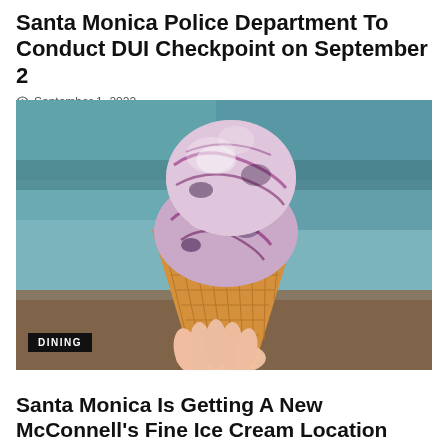Santa Monica Police Department To Conduct DUI Checkpoint on September 2
September 1, 2022
[Figure (photo): A hand holding a waffle cone with two scoops of purple and white swirled ice cream, in front of a blurred restaurant interior background. A black 'DINING' label appears in the lower left corner of the image.]
Santa Monica Is Getting A New McConnell's Fine Ice Cream Location